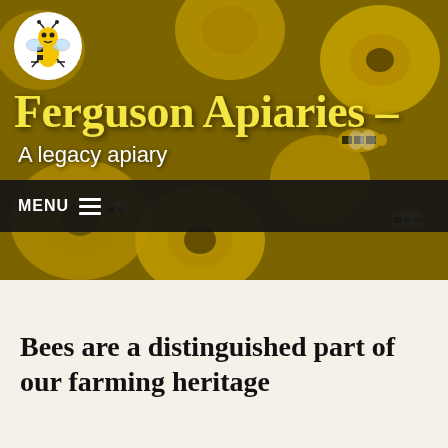[Figure (photo): Hero background photo of yellow wildflowers with honeybees, used as the header image for Ferguson Apiaries website]
Ferguson Apiaries –
A legacy apiary
MENU
Bees are a distinguished part of our farming heritage